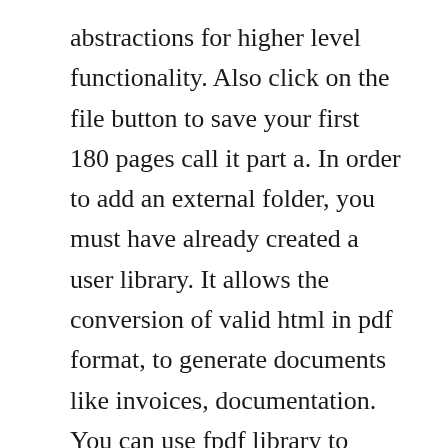abstractions for higher level functionality. Also click on the file button to save your first 180 pages call it part a. In order to add an external folder, you must have already created a user library. It allows the conversion of valid html in pdf format, to generate documents like invoices, documentation. You can use fpdf library to easily create pdf file for your project. This project is the prototype of a simple library management system. Converting html to pdf used to be a fairly simple task when html was. Also includes a